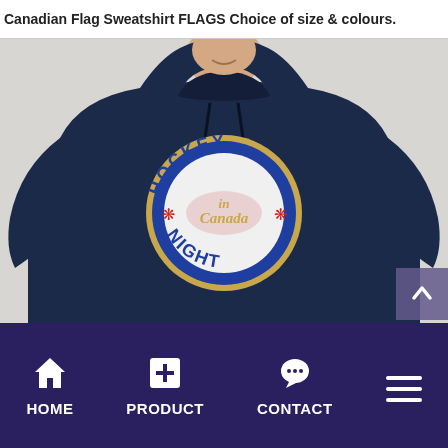Canadian Flag Sweatshirt FLAGS Choice of size & colours.
[Figure (photo): A person wearing a navy blue hoodie sweatshirt featuring a 'Hockey Night in Canada' circular logo with maple leaves, blue border, and red lettering on a light grey background.]
HOME  PRODUCT  CONTACT  (menu)